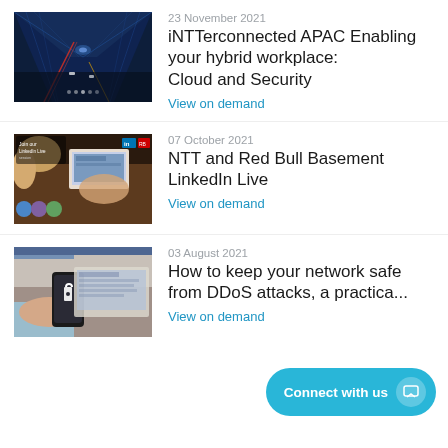[Figure (photo): Blue tunnel with light trails representing connected highways/network technology]
23 November 2021
iNTTerconnected APAC Enabling your hybrid workplace: Cloud and Security
View on demand
[Figure (photo): LinkedIn Live session promotional image showing person at laptop with circular profile photos]
07 October 2021
NTT and Red Bull Basement LinkedIn Live
View on demand
[Figure (photo): Person holding smartphone with lock icon in front of a laptop computer]
03 August 2021
How to keep your network safe from DDoS attacks, a practica...
View on demand